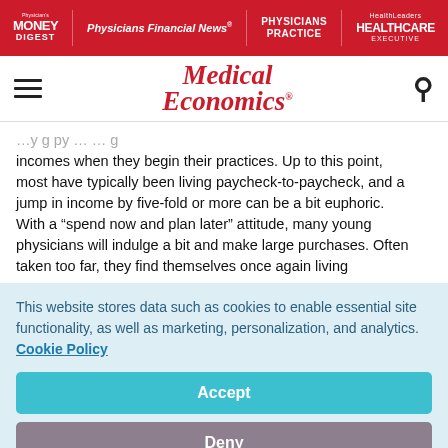Physician's Money Digest | Physicians Financial News | Physicians Practice | Healthcare Executive
[Figure (logo): Medical Economics logo with red italic text]
incomes when they begin their practices. Up to this point, most have typically been living paycheck-to-paycheck, and a jump in income by five-fold or more can be a bit euphoric. With a "spend now and plan later" attitude, many young physicians will indulge a bit and make large purchases. Often taken too far, they find themselves once again living
This website stores data such as cookies to enable essential site functionality, as well as marketing, personalization, and analytics. Cookie Policy
Accept
Deny